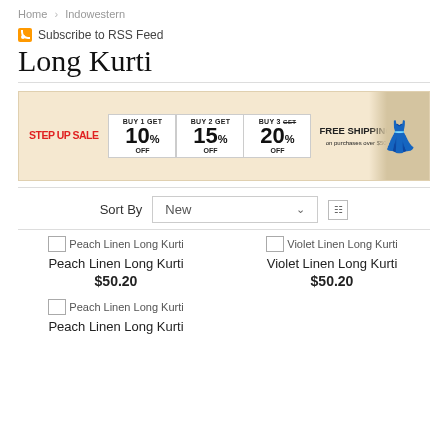Home > Indowestern
Subscribe to RSS Feed
Long Kurti
[Figure (infographic): Step Up Sale banner: BUY 1 GET 10% OFF, BUY 2 GET 15% OFF, BUY 3 GET 20% OFF, FREE SHIPPING. Background shows wheat field with model in teal outfit.]
Sort By  New
[Figure (photo): Peach Linen Long Kurti product image placeholder]
Peach Linen Long Kurti
$50.20
[Figure (photo): Violet Linen Long Kurti product image placeholder]
Violet Linen Long Kurti
$50.20
[Figure (photo): Peach Linen Long Kurti product image placeholder]
Peach Linen Long Kurti